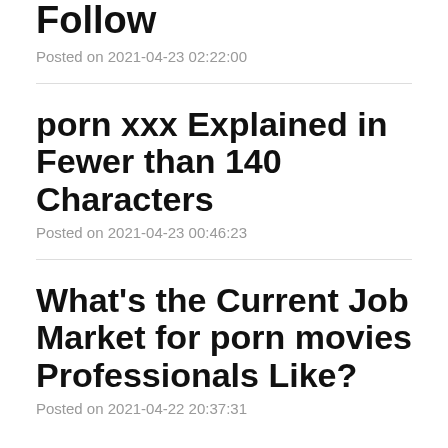Follow
Posted on 2021-04-23 02:22:00
porn xxx Explained in Fewer than 140 Characters
Posted on 2021-04-23 00:46:23
What's the Current Job Market for porn movies Professionals Like?
Posted on 2021-04-22 20:37:31